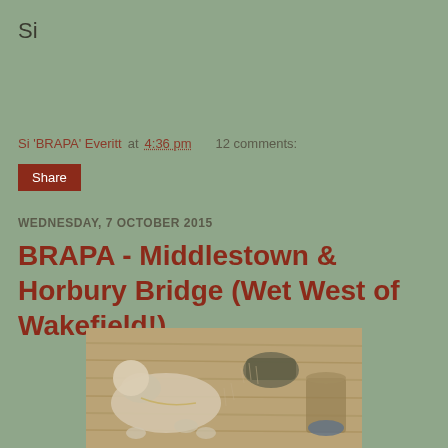Si
Si 'BRAPA' Everitt at 4:36 pm   12 comments:
Share
WEDNESDAY, 7 OCTOBER 2015
BRAPA - Middlestown & Horbury Bridge (Wet West of Wakefield!)
[Figure (photo): Overhead view of a cat on a wooden floor with shoes and a drink nearby, sepia-toned photo]